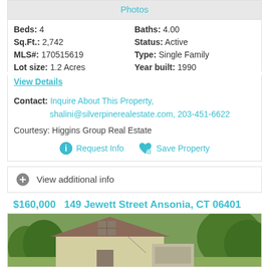Photos
Beds: 4   Baths: 4.00
Sq.Ft.: 2,742   Status: Active
MLS#: 170515619   Type: Single Family
Lot size: 1.2 Acres   Year built: 1990
View Details
Contact: Inquire About This Property, shalini@silverpinerealestate.com, 203-451-6622
Courtesy: Higgins Group Real Estate
Request Info   Save Property
View additional info
$160,000   149 Jewett Street Ansonia, CT 06401
[Figure (photo): Exterior photo of a two-story yellow/beige house with brown roof, window, and garage, surrounded by trees]